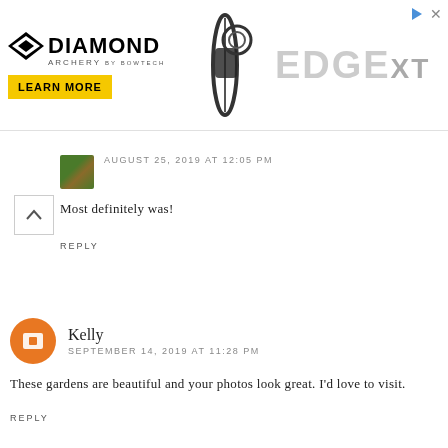[Figure (screenshot): Diamond Archery Edge XT advertisement banner with logo, bow image, and Learn More button]
AUGUST 25, 2019 AT 12:05 PM
Most definitely was!
REPLY
Kelly
SEPTEMBER 14, 2019 AT 11:28 PM
These gardens are beautiful and your photos look great. I'd love to visit.
REPLY